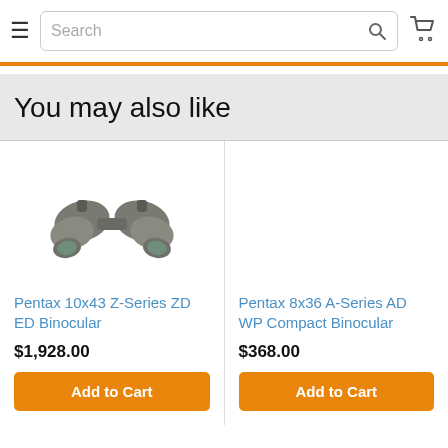Search bar with hamburger menu and cart icon
You may also like
[Figure (photo): Pentax 10x43 Z-Series ZD ED Binocular product photo showing grey binoculars]
Pentax 10x43 Z-Series ZD ED Binocular
$1,928.00
Add to Cart
Pentax 8x36 A-Series AD WP Compact Binocular
$368.00
Add to Cart